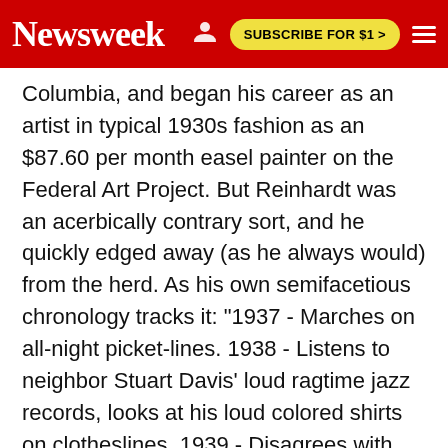Newsweek | SUBSCRIBE FOR $1 >
Columbia, and began his career as an artist in typical 1930s fashion as an $87.60 per month easel painter on the Federal Art Project. But Reinhardt was an acerbically contrary sort, and he quickly edged away (as he always would) from the herd. As his own semifacetious chronology tracks it: "1937 - Marches on all-night picket-lines. 1938 - Listens to neighbor Stuart Davis' loud ragtime jazz records, looks at his loud colored shirts on clotheslines. 1939 - Disagrees with [surrealist painter] Matta about importance in art of artists rubbing